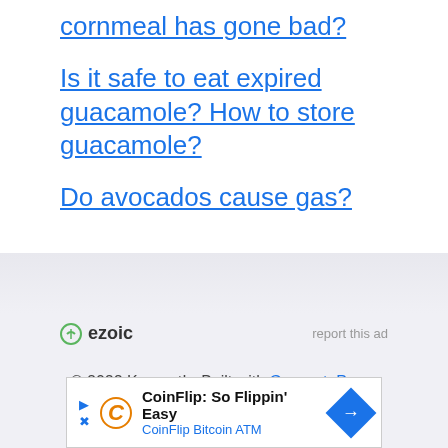cornmeal has gone bad?
Is it safe to eat expired guacamole? How to store guacamole?
Do avocados cause gas?
[Figure (logo): Ezoic logo with circular icon]
report this ad
© 2022 Kresent! • Built with GeneratePress
[Figure (screenshot): CoinFlip Bitcoin ATM advertisement banner: CoinFlip: So Flippin' Easy, CoinFlip Bitcoin ATM]